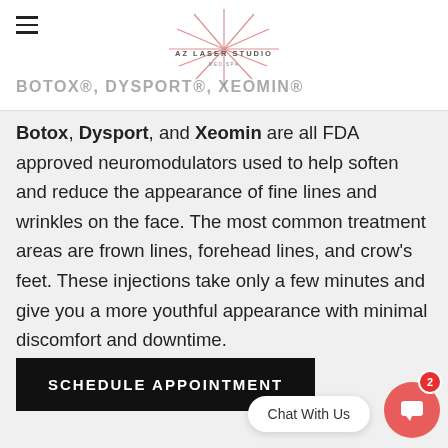BOTOX®, DYSPORT®, XEOMIN®
[Figure (logo): AZ Laser Studio Med Spa logo with red starburst graphic, centered in header]
Botox, Dysport, and Xeomin are all FDA approved neuromodulators used to help soften and reduce the appearance of fine lines and wrinkles on the face. The most common treatment areas are frown lines, forehead lines, and crow's feet. These injections take only a few minutes and give you a more youthful appearance with minimal discomfort and downtime.
SCHEDULE APPOINTMENT
Chat With Us